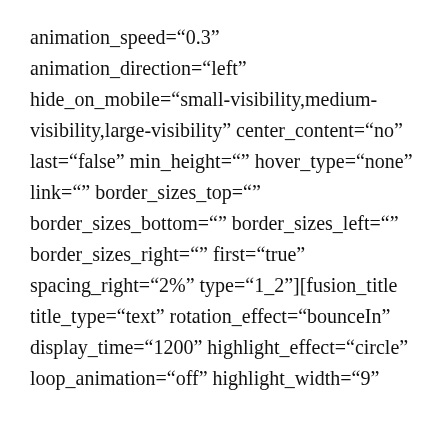animation_speed="0.3" animation_direction="left" hide_on_mobile="small-visibility,medium-visibility,large-visibility" center_content="no" last="false" min_height="" hover_type="none" link="" border_sizes_top="" border_sizes_bottom="" border_sizes_left="" border_sizes_right="" first="true" spacing_right="2%" type="1_2"][fusion_title title_type="text" rotation_effect="bounceIn" display_time="1200" highlight_effect="circle" loop_animation="off" highlight_width="9"